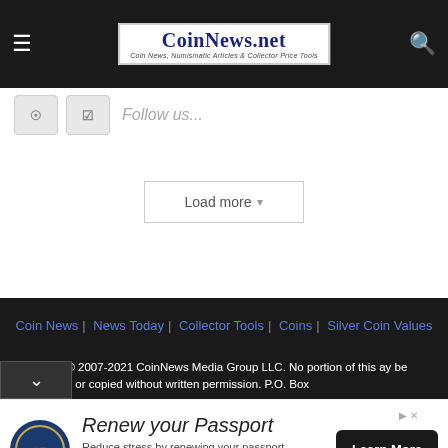CoinNews.net — Coin News, Numismatic Articles & Collector Price Tools
[Figure (screenshot): Social media follow buttons (Instagram, Pinterest) with greyed-out follow text]
Load more
Coin News | News Today | Collector Tools | Coins | Silver Coin Values
Copyright © 2007-2021 CoinNews Media Group LLC. No portion of this may be reproduced or copied without written permission. P.O. Box
[Figure (infographic): Advertisement: Renew your Passport. Reduce stress by renewing your passport in fall or winter when processing is faster. U.S. Department of State. Learn More button.]